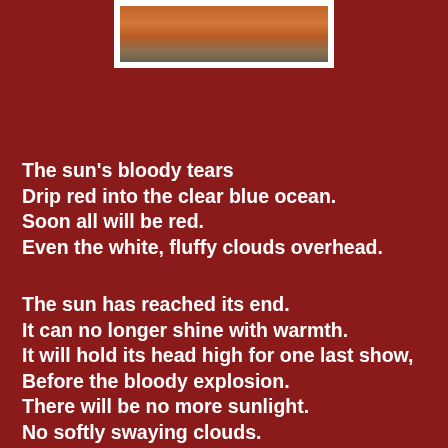[Figure (photo): A sunset over the ocean with warm orange and red hues reflected on the water, framed with a white border.]
The sun's bloody tears
Drip red into the clear blue ocean.
Soon all will be red.
Even the white, fluffy clouds overhead.
The sun has reached its end.
It can no longer shine with warmth.
It will hold its head high for one last show,
Before the bloody explosion.
There will be no more sunlight.
No softly swaying clouds.
Only the moon and its cold touch